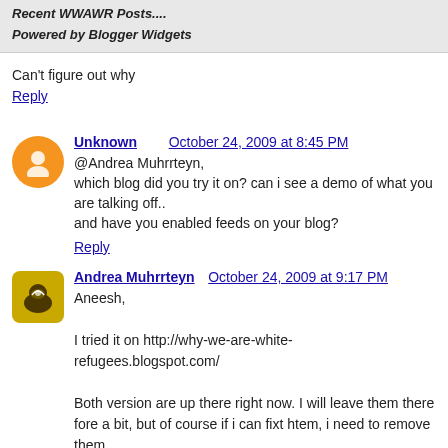Recent WWAWR Posts....
Powered by Blogger Widgets
Can't figure out why
Reply
Unknown    October 24, 2009 at 8:45 PM
@Andrea Muhrrteyn,
which blog did you try it on? can i see a demo of what you are talking off..
and have you enabled feeds on your blog?
Reply
Andrea Muhrrteyn    October 24, 2009 at 9:17 PM
Aneesh,

I tried it on http://why-we-are-white-refugees.blogspot.com/

Both version are up there right now. I will leave them there fore a bit, but of course if i can fixt htem, i need to remove them.